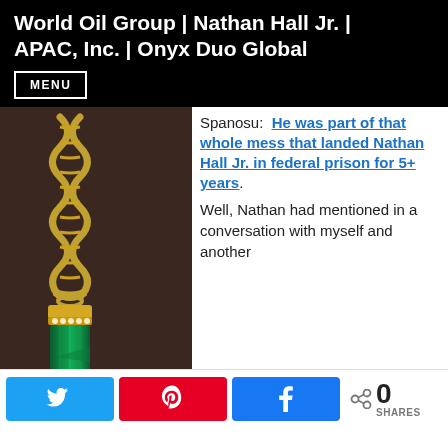World Oil Group | Nathan Hall Jr. | APAC, Inc. | Onyx Duo Global
MENU
[Figure (photo): A gold rope chain necklace with a large green emerald/crystal rectangular pendant, set in a gold and diamond-studded cap, photographed against a dark background.]
Spanosu:  He was part of that whole mess that landed Nathan Hall Jr. in federal prison for 5+ years. Well, Nathan had mentioned in a conversation with myself and another
0 SHARES